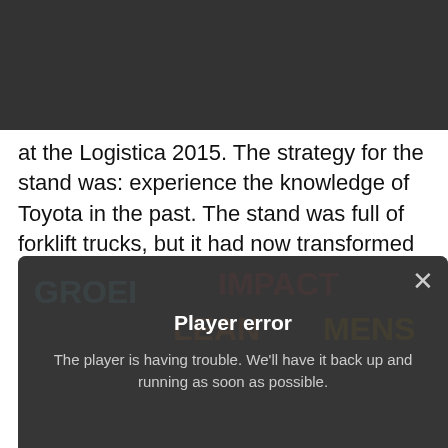DST experience agency
at the Logistica 2015. The strategy for the stand was: experience the knowledge of Toyota in the past. The stand was full of forklift trucks, but it had now transformed into a knowledge centre with interactive exhibits and a Toyota theatre. The exhibits worked as a playful way to get people talking. While the visitors in the theatre received in-depth information, such as by way of the new film and through knowledge sessions on the Toyota Production System (TPS).
[Figure (screenshot): Video player showing a blurred background with words GROEI, IMPACT, LEAN, MENS, overlaid with a dark error message box reading 'Player error' and 'The player is having trouble. We'll have it back up and running as soon as possible.' with a close (×) button.]